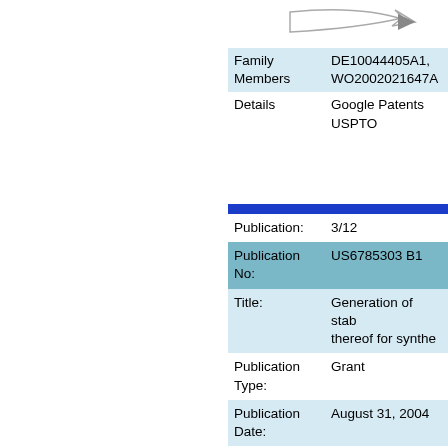[Figure (illustration): Arrow/logo graphic at top right of page]
| Family Members | DE10044405A1, WO2002021647A |
| Details | Google Patents
USPTO |
| Publication: | 3/12 |
| Publication No: | US6785303 B1 |
| Title: | Generation of stab... thereof for synthe... |
| Publication Type: | Grant |
| Publication Date: | August 31, 2004 |
| Filing Date: | March 10, 2000 |
| Inventors: | Ronald Holzwarth W. HÃ¤nsch |
| Original Assignee: | Max-Planck-Gese... E. V. |
| Abstract: | A process for oper... |